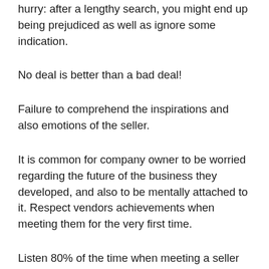hurry: after a lengthy search, you might end up being prejudiced as well as ignore some indication.
No deal is better than a bad deal!
Failure to comprehend the inspirations and also emotions of the seller.
It is common for company owner to be worried regarding the future of the business they developed, and also to be mentally attached to it. Respect vendors achievements when meeting them for the very first time.
Listen 80% of the time when meeting a seller for the first time to comprehend their motivation to offer, to